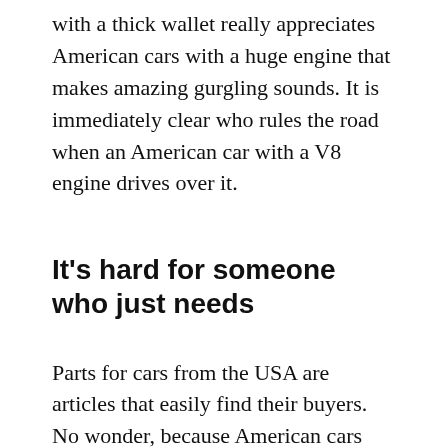with a thick wallet really appreciates American cars with a huge engine that makes amazing gurgling sounds. It is immediately clear who rules the road when an American car with a V8 engine drives over it.
It's hard for someone who just needs
Parts for cars from the USA are articles that easily find their buyers. No wonder, because American cars drive on our roads, which means that their owners